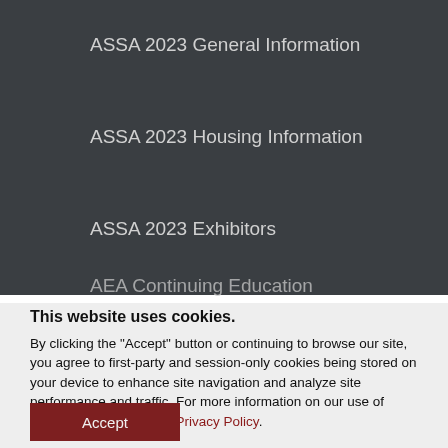ASSA 2023 General Information
ASSA 2023 Housing Information
ASSA 2023 Exhibitors
ASSA 2023 Job Market
ASSA 2023 KiddieCorp
AEA Continuing Education
This website uses cookies.
By clicking the "Accept" button or continuing to browse our site, you agree to first-party and session-only cookies being stored on your device to enhance site navigation and analyze site performance and traffic. For more information on our use of cookies, please see our Privacy Policy.